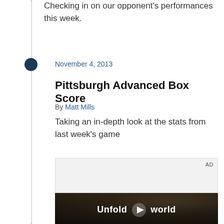Checking in on our opponent's performances this week.
November 4, 2013
Pittsburgh Advanced Box Score
By Matt Mills
Taking an in-depth look at the stats from last week's game
[Figure (screenshot): Advertisement placeholder box with 'AD' label in top right, followed by a video thumbnail showing a person in a car holding a phone with 'Unfold your world' text overlay]